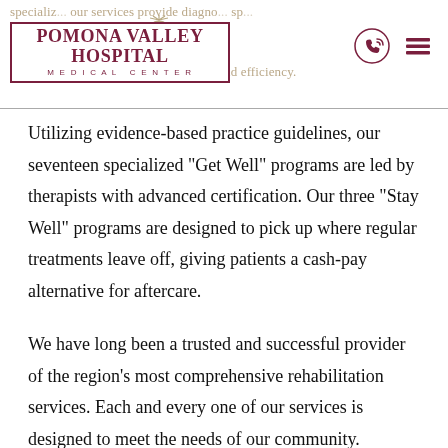Pomona Valley Hospital Medical Center — specializ... our services provide diagno... sp... therapy programs that improve quality and efficiency.
Utilizing evidence-based practice guidelines, our seventeen specialized “Get Well” programs are led by therapists with advanced certification. Our three “Stay Well” programs are designed to pick up where regular treatments leave off, giving patients a cash-pay alternative for aftercare.
We have long been a trusted and successful provider of the region’s most comprehensive rehabilitation services. Each and every one of our services is designed to meet the needs of our community. Whether your daily activities are performed at home, at work, or on the